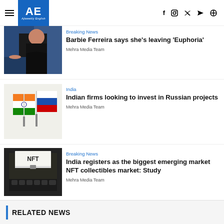AE Ajiweekly English — navigation header with hamburger menu, logo, and social icons (f, instagram, twitter, youtube, search)
Breaking News
Barbie Ferreira says she's leaving 'Euphoria'
Mehra Media Team
India
Indian firms looking to invest in Russian projects
Mehra Media Team
Breaking News
India registers as the biggest emerging market NFT collectibles market: Study
Mehra Media Team
RELATED NEWS